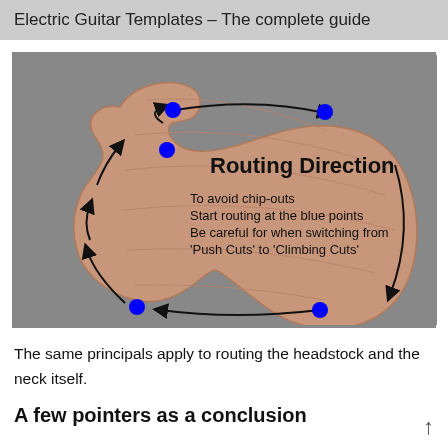Electric Guitar Templates – The complete guide
[Figure (illustration): Diagram of an electric guitar body (Stratocaster-style) showing routing direction with blue dot markers at start points and black arrows indicating the direction of router travel around the body outline. Text on the diagram reads: 'Routing Direction', 'To avoid chip-outs', 'Start routing at the blue points', 'Be careful for when switching from \'Push Cuts\' to \'Climbing Cuts\'']
The same principals apply to routing the headstock and the neck itself.
A few pointers as a conclusion